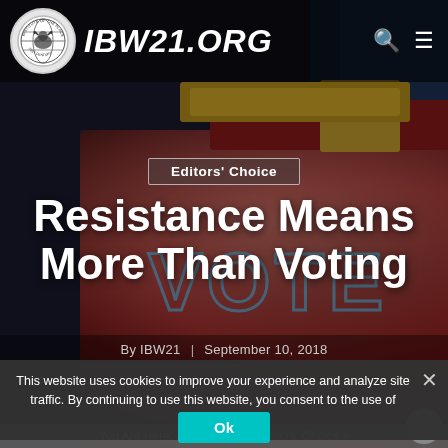[Figure (photo): Hero background image showing a red patent leather handbag with the word VOTE written in blue graffiti-style text on it, with a dark blue jacket visible in the background. The image is dimmed/overlaid for text readability.]
IBW21.ORG
Editors' Choice
Resistance Means More Than Voting
By IBW21 | September 10, 2018
This website uses cookies to improve your experience and analyze site traffic. By continuing to use this website, you consent to the use of cookies.
Ok
You Are Here: Home » Blog » Editors' Choice »